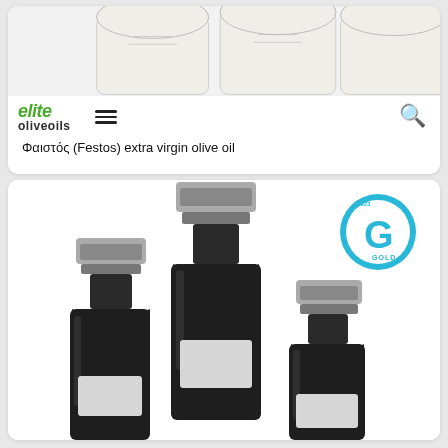[Figure (photo): Top portion of product photo showing white ceramic containers/jars with olive oil branding, partially cropped at top]
elite oliveoils
Φαιστός (Festos) extra virgin olive oil
[Figure (photo): Black and white photo of three dark glass olive oil bottles of different sizes (tall, medium, short) with flat-top capsules and white labels, with a blue Gold award badge (G) in upper right corner]